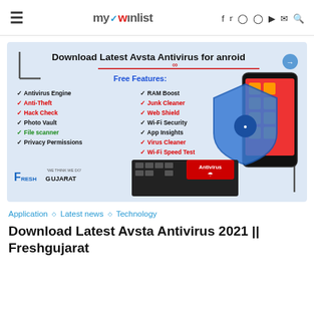mywinlist — navigation bar with hamburger menu, logo, and social icons (f, twitter, instagram, pinterest, youtube, email, search)
[Figure (infographic): Download Latest Avsta Antivirus for Android promotional banner. Blue background. Lists Free Features: Antivirus Engine, Anti-Theft, Hack Check, Photo Vault, File Scanner, Privacy Permissions (left column); RAM Boost, Junk Cleaner, Web Shield, Wi-Fi Security, App Insights, Virus Cleaner, Wi-Fi Speed Test (right column). Phone and shield graphic on right. Keyboard with Antivirus key at bottom center. FreshGujarat logo at bottom left.]
Application  ◇  Latest news  ◇  Technology
Download Latest Avsta Antivirus 2021 || Freshgujarat